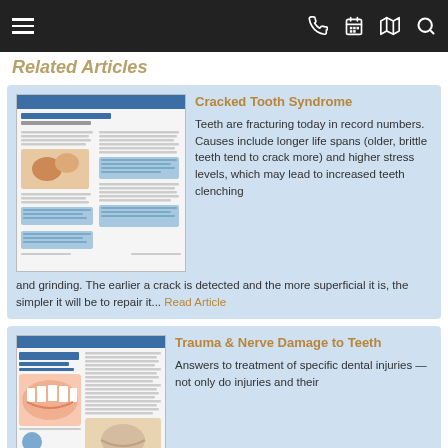Navigation bar with hamburger menu, phone, calendar, map, and search icons
Related Articles
[Figure (screenshot): Thumbnail image of 'Cracked Tooth Syndrome' article page]
Cracked Tooth Syndrome
Teeth are fracturing today in record numbers. Causes include longer life spans (older, brittle teeth tend to crack more) and higher stress levels, which may lead to increased teeth clenching and grinding. The earlier a crack is detected and the more superficial it is, the simpler it will be to repair it... Read Article
[Figure (screenshot): Thumbnail image of 'Trauma & Nerve Damage to Teeth' article page]
Trauma & Nerve Damage to Teeth
Answers to treatment of specific dental injuries — not only do injuries and their